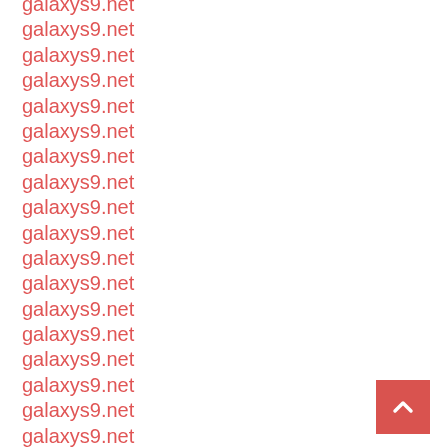galaxys9.net
galaxys9.net
galaxys9.net
galaxys9.net
galaxys9.net
galaxys9.net
galaxys9.net
galaxys9.net
galaxys9.net
galaxys9.net
galaxys9.net
galaxys9.net
galaxys9.net
galaxys9.net
galaxys9.net
galaxys9.net
galaxys9.net
galaxys9.net
galaxys9.net
galaxys9.net
[Figure (other): Back to top button - red square with white upward chevron arrow]